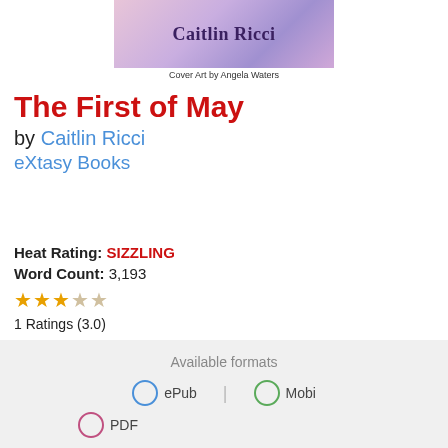[Figure (illustration): Book cover image showing 'Caitlin Ricci' text in purple/dark font over a pink/purple gradient artistic background]
Cover Art by Angela Waters
The First of May
by Caitlin Ricci
eXtasy Books
Heat Rating: SIZZLING
Word Count: 3,193
★★★☆☆
1 Ratings (3.0)
Contemporary
Erotica Fiction
Available formats
ePub
Mobi
PDF